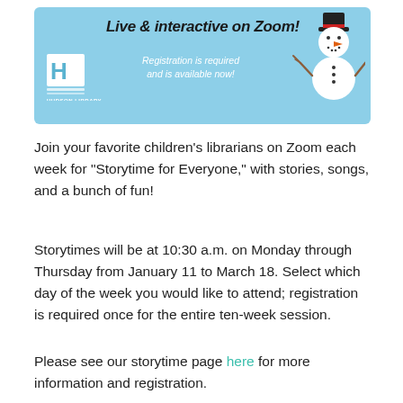[Figure (infographic): Light blue banner with Hudson Library logo on left, bold italic text 'Live & interactive on Zoom!' at top, italic white text 'Registration is required and is available now!' in center, and a cartoon snowman with black top hat on the right.]
Join your favorite children’s librarians on Zoom each week for “Storytime for Everyone,” with stories, songs, and a bunch of fun!
Storytimes will be at 10:30 a.m. on Monday through Thursday from January 11 to March 18. Select which day of the week you would like to attend; registration is required once for the entire ten-week session.
Please see our storytime page here for more information and registration.